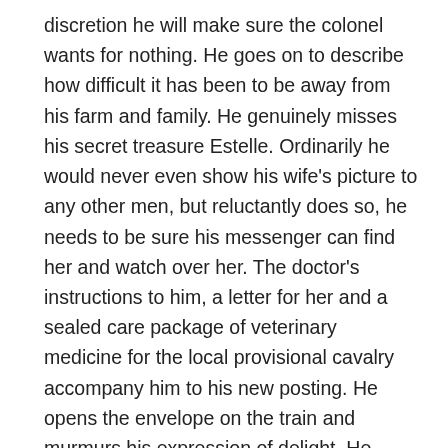discretion he will make sure the colonel wants for nothing. He goes on to describe how difficult it has been to be away from his farm and family. He genuinely misses his secret treasure Estelle. Ordinarily he would never even show his wife's picture to any other men, but reluctantly does so, he needs to be sure his messenger can find her and watch over her. The doctor's instructions to him, a letter for her and a sealed care package of veterinary medicine for the local provisional cavalry accompany him to his new posting. He opens the envelope on the train and murmurs his expression of delight. He places the small envelope in his coat pocket, buttons it and dozes as the train lulls him into a deep slumber. The image of the most angelic woman he's ever seen